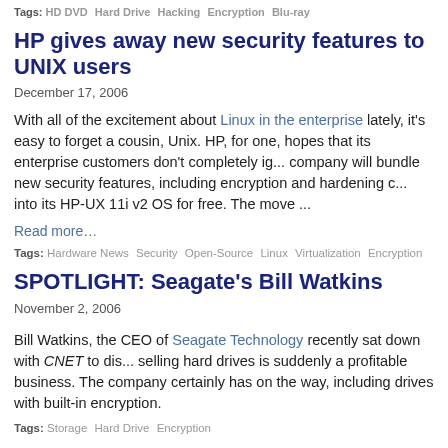Tags: HD DVD · Hard Drive · Hacking · Encryption · Blu-ray
HP gives away new security features to UNIX users
December 17, 2006
With all of the excitement about Linux in the enterprise lately, it's easy to forget a cousin, Unix. HP, for one, hopes that its enterprise customers don't completely ig... company will bundle new security features, including encryption and hardening c... into its HP-UX 11i v2 OS for free. The move ...
Read more…
Tags: Hardware News · Security · Open-Source · Linux · Virtualization · Encryption
SPOTLIGHT: Seagate's Bill Watkins
November 2, 2006
Bill Watkins, the CEO of Seagate Technology recently sat down with CNET to dis... selling hard drives is suddenly a profitable business. The company certainly has on the way, including drives with built-in encryption.
Tags: Storage · Hard Drive · Encryption
ALSO NOTED: New IE7 flaw discovered; PDAs on the more…
October 29, 2006